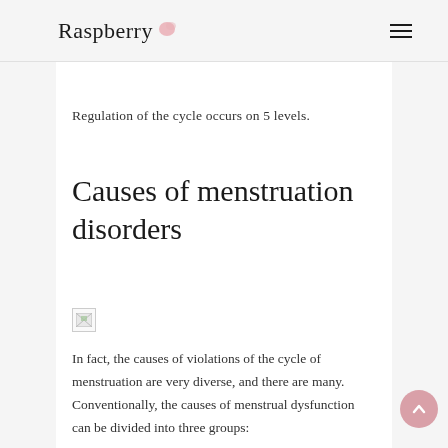Raspberry
Regulation of the cycle occurs on 5 levels.
Causes of menstruation disorders
[Figure (photo): Broken/missing image placeholder]
In fact, the causes of violations of the cycle of menstruation are very diverse, and there are many. Conventionally, the causes of menstrual dysfunction can be divided into three groups: